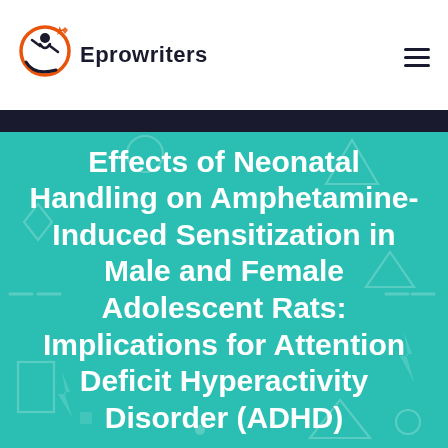Eprowriters
Effects of Neonatal Handling on Amphetamine-Induced Sensitization in Male and Female Adolescent Rats: Implications for Attention Deficit Hyperactivity Disorder (ADHD)